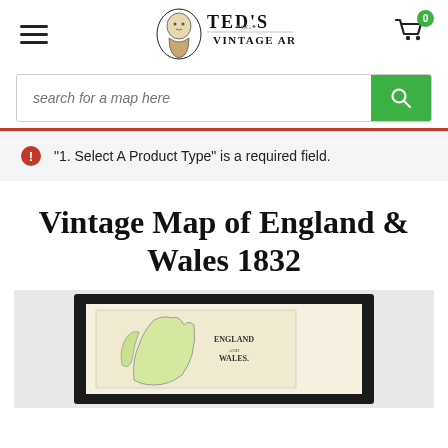Ted's Vintage Art - navigation header with hamburger menu, logo, and cart
search for a map here
"1. Select A Product Type" is a required field.
Vintage Map of England & Wales 1832
[Figure (photo): Framed vintage map of England and Wales 1832, shown in a black frame on a light grey background, with partial view of an antique map inside.]